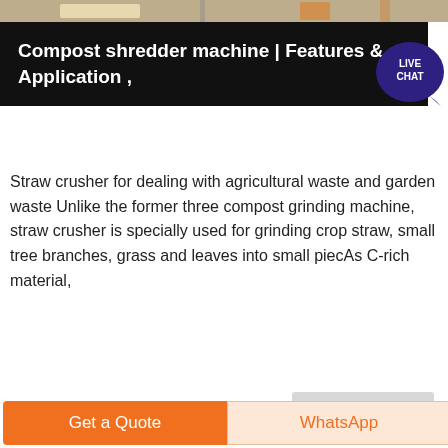[Figure (photo): Top portion of an outdoor scene with workers/machinery, cropped view at top of page]
Compost shredder machine | Features & Application ,
Straw crusher for dealing with agricultural waste and garden waste Unlike the former three compost grinding machine, straw crusher is specially used for grinding crop straw, small tree branches, grass and leaves into small piecAs C-rich material,
Get More
[Figure (photo): Industrial machinery/silo equipment photograph at bottom of the page]
Get a Quote
WhatsApp